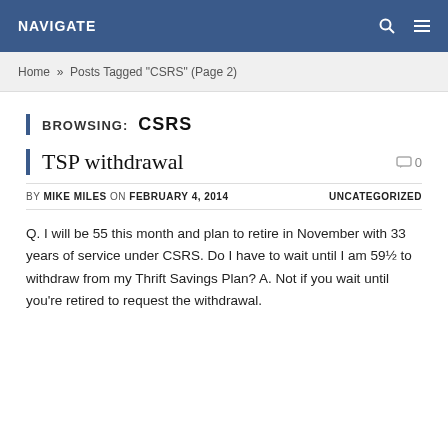NAVIGATE
Home » Posts Tagged "CSRS" (Page 2)
BROWSING: CSRS
TSP withdrawal
BY MIKE MILES ON FEBRUARY 4, 2014 UNCATEGORIZED
Q. I will be 55 this month and plan to retire in November with 33 years of service under CSRS. Do I have to wait until I am 59½ to withdraw from my Thrift Savings Plan? A. Not if you wait until you're retired to request the withdrawal.